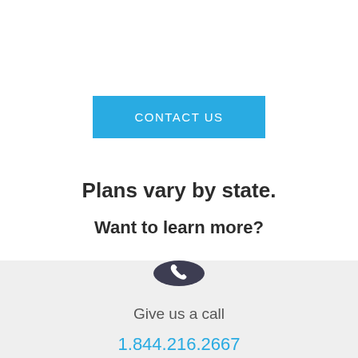CONTACT US
Plans vary by state.
Want to learn more?
[Figure (illustration): Dark circular icon with a white telephone/phone handset symbol]
Give us a call
1.844.216.2667
[Figure (illustration): Dark circular icon with a white chat/message symbol, partially visible at bottom]